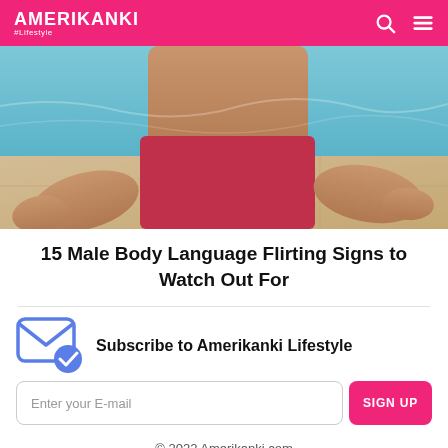AMERIKANKI #Lifestyle
[Figure (photo): Cropped photo of a shirtless man at a swimming pool, leaning on the pool edge, wearing red/pink swim trunks, with blue pool water and stone tiles visible.]
15 Male Body Language Flirting Signs to Watch Out For
Subscribe to Amerikanki Lifestyle
Enter your E-mail
SIGN UP
© 2022 Amerikanki.com